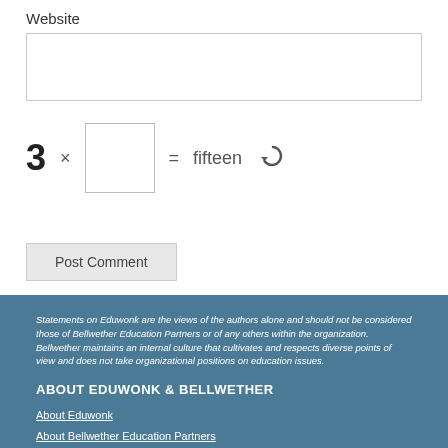Website
3 × [input box] = fifteen [refresh icon]
Post Comment
Statements on Eduwonk are the views of the authors alone and should not be considered those of Bellwether Education Partners or of any others within the organization. Bellwether maintains an internal culture that cultivates and respects diverse points of view and does not take organizational positions on education issues.
ABOUT EDUWONK & BELLWETHER
About Eduwonk
About Bellwether Education Partners
About Andrew Rotherham